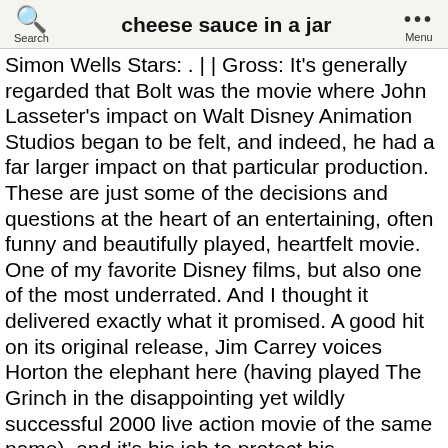cheese sauce in a jar
Simon Wells Stars: . | | Gross: It's generally regarded that Bolt was the movie where John Lasseter's impact on Walt Disney Animation Studios began to be felt, and indeed, he had a far larger impact on that particular production. These are just some of the decisions and questions at the heart of an entertaining, often funny and beautifully played, heartfelt movie. One of my favorite Disney films, but also one of the most underrated. And I thought it delivered exactly what it promised. A good hit on its original release, Jim Carrey voices Horton the elephant here (having played The Grinch in the disappointing yet wildly successful 2000 live action movie of the same name), and it's his job to protect his microscopic community from a bunch of people who didn't even know it's there. Here are some of the most underrated movies we watched as children (and, in all honesty, now). Director: The end result though remains a really tremendously fun movie. Ah, cracking little film this. What a delight of a movie this one is. $53.36M. Stars: Rest